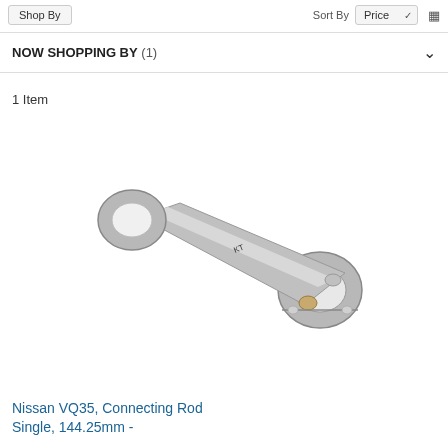Shop By   Sort By  Price
NOW SHOPPING BY (1)
1 Item
[Figure (photo): Nissan VQ35 connecting rod, single, 144.25mm — a metallic H-beam connecting rod photographed diagonally, showing the large end (big bore) on the lower right and small end (small bore) on the upper left with a bolt visible on the cap.]
Nissan VQ35, Connecting Rod Single, 144.25mm -